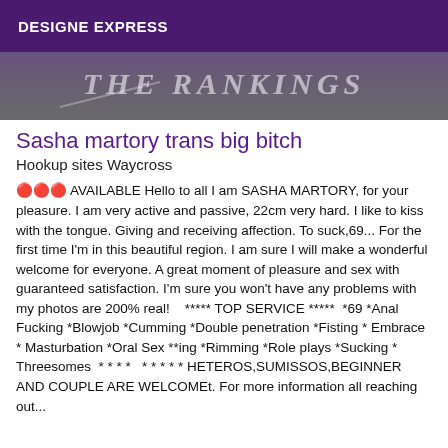DESIGNE EXPRESS
[Figure (photo): Partial image with stylized text overlay, appears to show a person with decorative script text]
Sasha martory trans big bitch
Hookup sites Waycross
🔴🔴🔴 AVAILABLE Hello to all I am SASHA MARTORY, for your pleasure. I am very active and passive, 22cm very hard. I like to kiss with the tongue. Giving and receiving affection. To suck,69... For the first time I'm in this beautiful region. I am sure I will make a wonderful welcome for everyone. A great moment of pleasure and sex with guaranteed satisfaction. I'm sure you won't have any problems with my photos are 200% real!    ***** TOP SERVICE *****  *69 *Anal Fucking *Blowjob *Cumming *Double penetration *Fisting * Embrace * Masturbation *Oral Sex **ing *Rimming *Role plays *Sucking * Threesomes  * * * *   * * * * *  HETEROS,SUMISSOS,BEGINNER AND COUPLE ARE WELCOMEt. For more information all reaching out...